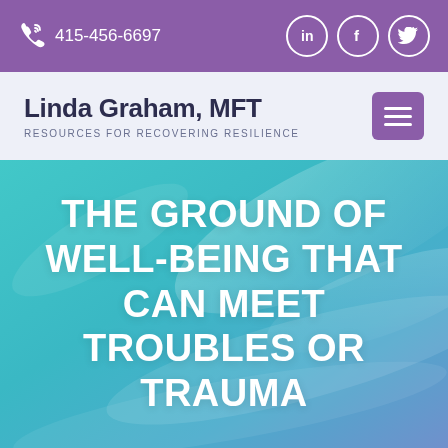415-456-6697
Linda Graham, MFT
RESOURCES FOR RECOVERING RESILIENCE
[Figure (screenshot): Hero image with teal-to-blue gradient background with abstract light streaks]
THE GROUND OF WELL-BEING THAT CAN MEET TROUBLES OR TRAUMA